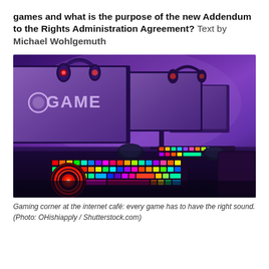games and what is the purpose of the new Addendum to the Rights Administration Agreement? Text by Michael Wohlgemuth
[Figure (photo): Gaming corner at an internet café showing multiple gaming PC setups with RGB illuminated keyboards, gaming headsets, large monitors displaying purple-lit screens, and gaming chairs in a row.]
Gaming corner at the internet café: every game has to have the right sound. (Photo: OHishiapply / Shutterstock.com)